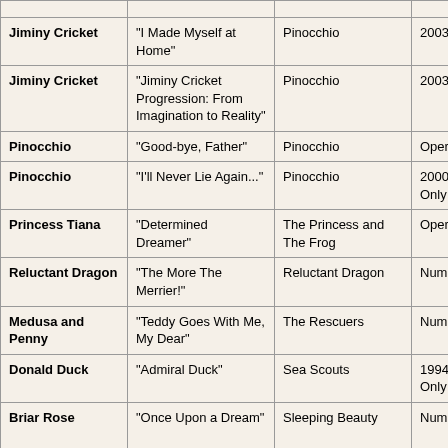| Character | Song | Film/Source | Edition |
| --- | --- | --- | --- |
| Jiminy Cricket | "I Made Myself at Home" | Pinocchio | 2003 Gift |
| Jiminy Cricket | "Jiminy Cricket Progression: From Imagination to Reality" | Pinocchio | 2003 Set ( |
| Pinocchio | "Good-bye, Father" | Pinocchio | Oper |
| Pinocchio | "I'll Never Lie Again..." | Pinocchio | 2000 Choi Only |
| Princess Tiana | "Determined Dreamer" | The Princess and The Frog | Oper |
| Reluctant Dragon | "The More The Merrier!" | Reluctant Dragon | Num Editi |
| Medusa and Penny | "Teddy Goes With Me, My Dear" | The Rescuers | Num Editi |
| Donald Duck | "Admiral Duck" | Sea Scouts | 1994 Choi Only |
| Briar Rose | "Once Upon a Dream" | Sleeping Beauty | Num Editi |